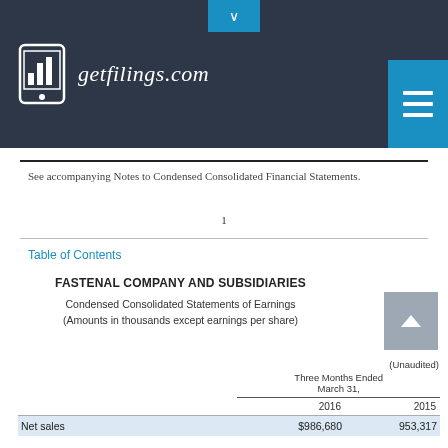[Figure (logo): getfilings.com logo with bar chart icon on dark background header]
See accompanying Notes to Condensed Consolidated Financial Statements.
1
Table of Contents
FASTENAL COMPANY AND SUBSIDIARIES
Condensed Consolidated Statements of Earnings
(Amounts in thousands except earnings per share)
|  | 2016 | 2015 |
| --- | --- | --- |
| Net sales | $986,680 | 953,317 |